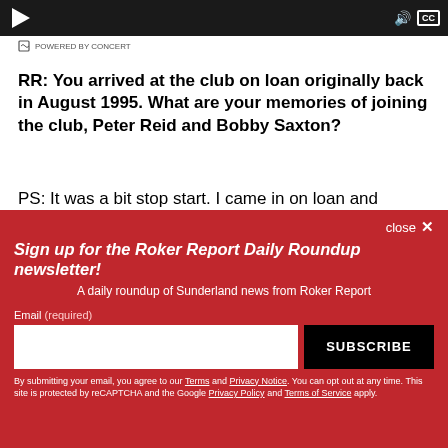[Figure (screenshot): Video player bar (dark background) with play button, volume icon, and CC caption icon]
POWERED BY CONCERT
RR: You arrived at the club on loan originally back in August 1995. What are your memories of joining the club, Peter Reid and Bobby Saxton?
PS: It was a bit stop start. I came in on loan and injured
Sign up for the Roker Report Daily Roundup newsletter!
A daily roundup of Sunderland news from Roker Report
Email (required)
SUBSCRIBE
By submitting your email, you agree to our Terms and Privacy Notice. You can opt out at any time. This site is protected by reCAPTCHA and the Google Privacy Policy and Terms of Service apply.